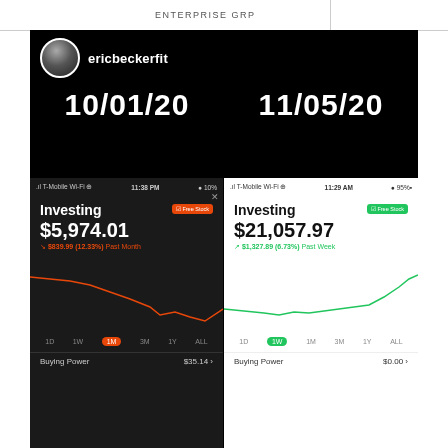ENTERPRISE GRP
[Figure (screenshot): Instagram post by ericbeckerfit showing two Robinhood investing screenshots side by side. Left screenshot dated 10/01/20 shows investing balance of $5,974.01 with -$839.99 (-12.33%) Past Month. Right screenshot dated 11/05/20 shows investing balance of $21,057.97 with +$1,327.89 (6.73%) Past Week. Both screenshots show chart timelines and Buying Power rows.]